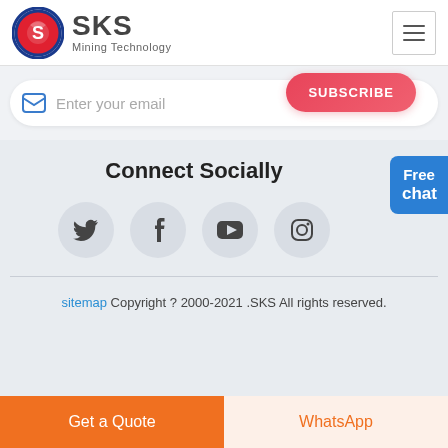[Figure (logo): SKS Mining Technology logo with circular emblem (red and blue) and text SKS Mining Technology]
Enter your email
SUBSCRIBE
Connect Socially
[Figure (infographic): Social media icons row: Twitter, Facebook, YouTube, Instagram inside grey circles]
sitemap Copyright ? 2000-2021 .SKS All rights reserved.
Get a Quote
WhatsApp
Free chat